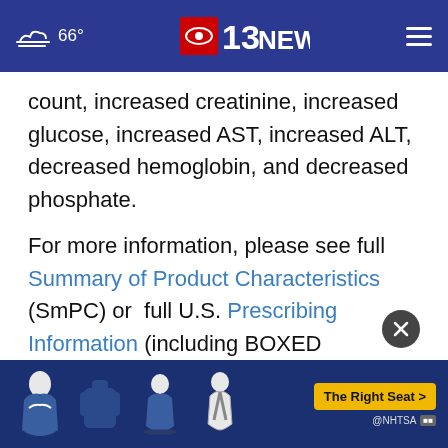66° CBS 13 NEWS
count, increased creatinine, increased glucose, increased AST, increased ALT, decreased hemoglobin, and decreased phosphate.
For more information, please see full Summary of Product Characteristics (SmPC) or full U.S. Prescribing Information (including BOXED WARNING for CRS).
About Medison Pharma
Medis... ed
[Figure (screenshot): NHTSA 'The Right Seat' advertisement banner at the bottom of the page with car seat safety icons]